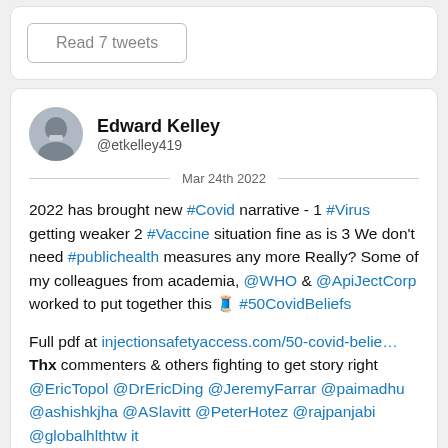Read 7 tweets
Edward Kelley @etkelley419
Mar 24th 2022
2022 has brought new #Covid narrative - 1 #Virus getting weaker 2 #Vaccine situation fine as is 3 We don't need #publichealth measures any more Really? Some of my colleagues from academia, @WHO & @ApiJectCorp worked to put together this 🧵 #50CovidBeliefs
Full pdf at injectionsafetyaccess.com/50-covid-belie… Thx commenters & others fighting to get story right @EricTopol @DrEricDing @JeremyFarrar @paimadhu @ashishkjha @ASlavitt @PeterHotez @rajpanjabi @globalhlthtw it